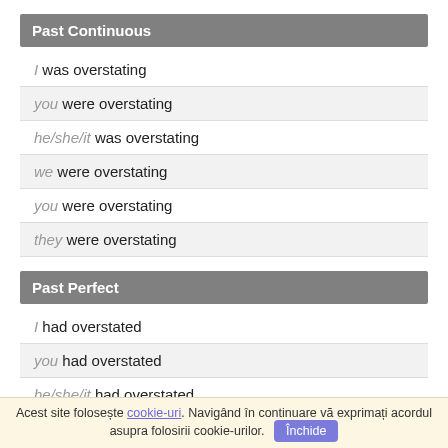Past Continuous
I was overstating
you were overstating
he/she/it was overstating
we were overstating
you were overstating
they were overstating
Past Perfect
I had overstated
you had overstated
he/she/it had overstated
Acest site folosește cookie-uri. Navigând în continuare vă exprimați acordul asupra folosirii cookie-urilor. Închide